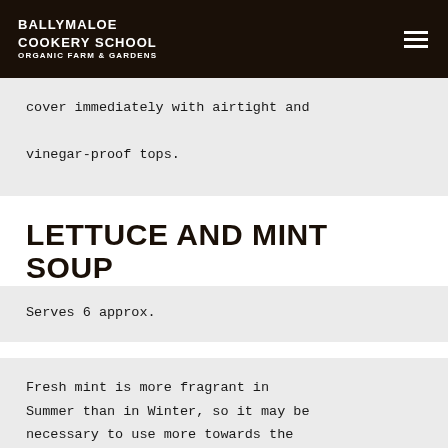BALLYMALOE COOKERY SCHOOL ORGANIC FARM & GARDENS
cover immediately with airtight and vinegar-proof tops.
LETTUCE AND MINT SOUP
Serves 6 approx.
Fresh mint is more fragrant in Summer than in Winter, so it may be necessary to use more towards the